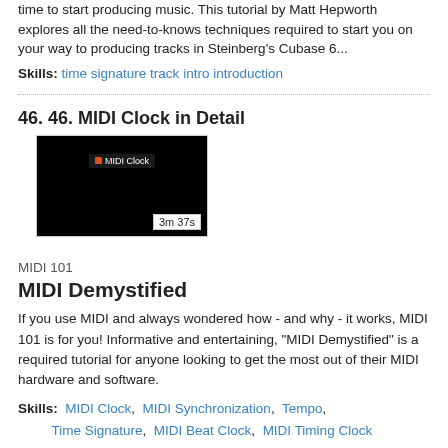time to start producing music. This tutorial by Matt Hepworth explores all the need-to-knows techniques required to start you on your way to producing tracks in Steinberg's Cubase 6...
Skills: time signature track intro introduction
46. 46. MIDI Clock in Detail
[Figure (screenshot): Video thumbnail showing dark screen with 'MIDI Clock' label, duration 3m 37s]
MIDI 101
MIDI Demystified
If you use MIDI and always wondered how - and why - it works, MIDI 101 is for you! Informative and entertaining, "MIDI Demystified" is a required tutorial for anyone looking to get the most out of their MIDI hardware and software.
Skills: MIDI Clock, MIDI Synchronization, Tempo, Time Signature, MIDI Beat Clock, MIDI Timing Clock
24. 24. Creating a multi-light Visual Metronome
[Figure (screenshot): Video thumbnail showing interface screenshot]